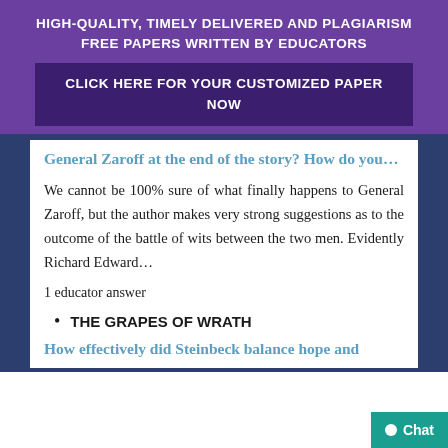HIGH-QUALITY, TIMELY DELIVERED AND PLAGIARISM FREE PAPERS WRITTEN BY EDUCATORS
CLICK HERE FOR YOUR CUSTOMIZED PAPER NOW
General Zaroff at the end of the story? How do you…
We cannot be 100% sure of what finally happens to General Zaroff, but the author makes very strong suggestions as to the outcome of the battle of wits between the two men. Evidently Richard Edward…
1 educator answer
THE GRAPES OF WRATH
How effectively did Steinbeck balance hope and